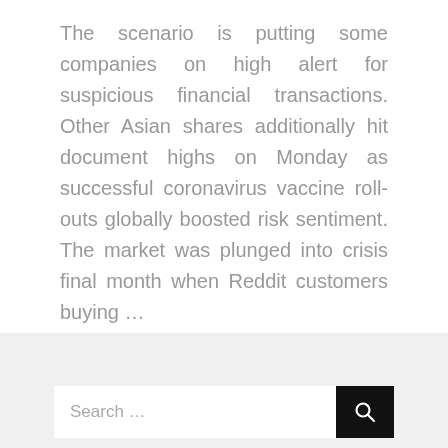The scenario is putting some companies on high alert for suspicious financial transactions. Other Asian shares additionally hit document highs on Monday as successful coronavirus vaccine roll-outs globally boosted risk sentiment. The market was plunged into crisis final month when Reddit customers buying ...
Business Strategy • By Lemuria
08/03/2021